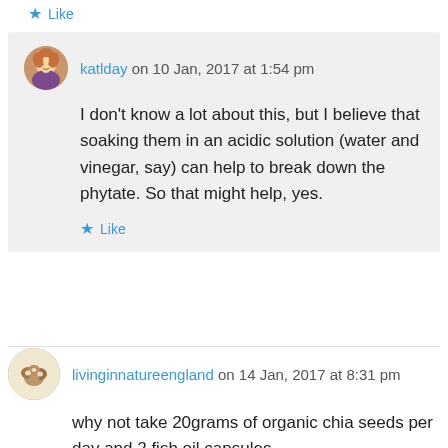★ Like
katlday on 10 Jan, 2017 at 1:54 pm
I don't know a lot about this, but I believe that soaking them in an acidic solution (water and vinegar, say) can help to break down the phytate. So that might help, yes.
★ Like
livinginnatureengland on 14 Jan, 2017 at 8:31 pm
why not take 20grams of organic chia seeds per day and 2 fish oil capsules
★ Like